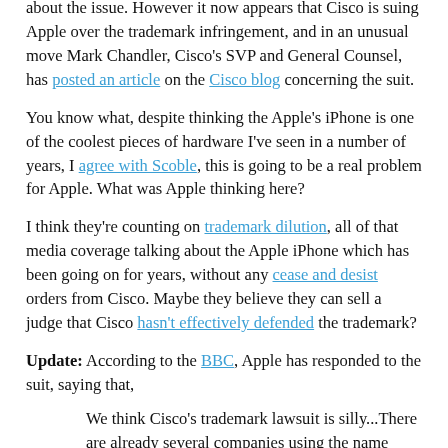about the issue. However it now appears that Cisco is suing Apple over the trademark infringement, and in an unusual move Mark Chandler, Cisco's SVP and General Counsel, has posted an article on the Cisco blog concerning the suit.
You know what, despite thinking the Apple's iPhone is one of the coolest pieces of hardware I've seen in a number of years, I agree with Scoble, this is going to be a real problem for Apple. What was Apple thinking here?
I think they're counting on trademark dilution, all of that media coverage talking about the Apple iPhone which has been going on for years, without any cease and desist orders from Cisco. Maybe they believe they can sell a judge that Cisco hasn't effectively defended the trademark?
Update: According to the BBC, Apple has responded to the suit, saying that,
We think Cisco's trademark lawsuit is silly...There are already several companies using the name iPhone for VOIP products. We are the first company to ever use the iPhone name for a cell